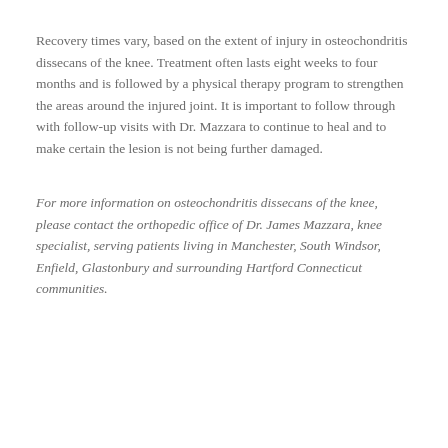Recovery times vary, based on the extent of injury in osteochondritis dissecans of the knee. Treatment often lasts eight weeks to four months and is followed by a physical therapy program to strengthen the areas around the injured joint. It is important to follow through with follow-up visits with Dr. Mazzara to continue to heal and to make certain the lesion is not being further damaged.
For more information on osteochondritis dissecans of the knee, please contact the orthopedic office of Dr. James Mazzara, knee specialist, serving patients living in Manchester, South Windsor, Enfield, Glastonbury and surrounding Hartford Connecticut communities.